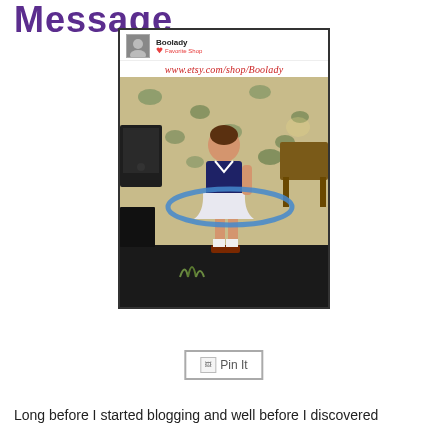Message
[Figure (screenshot): Etsy shop screenshot showing 'Boolady' shop with URL www.etsy.com/shop/Boolady and a vintage photo of a young girl in a sailor outfit hula hooping indoors]
[Figure (screenshot): Pin It button with broken image icon]
Long before I started blogging and well before I discovered